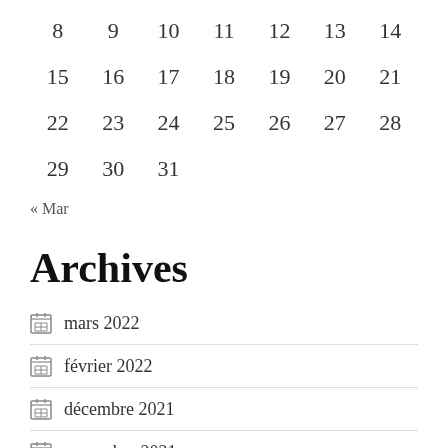| 8 | 9 | 10 | 11 | 12 | 13 | 14 |
| 15 | 16 | 17 | 18 | 19 | 20 | 21 |
| 22 | 23 | 24 | 25 | 26 | 27 | 28 |
| 29 | 30 | 31 |  |  |  |  |
« Mar
Archives
mars 2022
février 2022
décembre 2021
novembre 2021
octobre 2021
septembre 2021